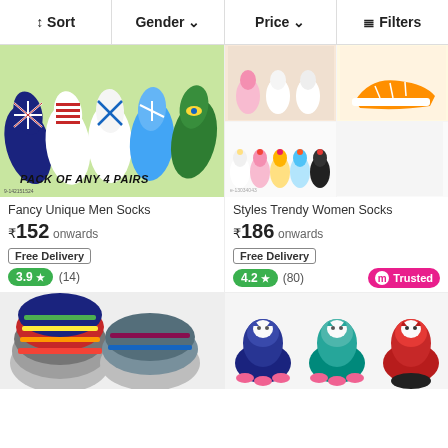↕ Sort  Gender ∨  Price ∨  ⊟ Filters
[Figure (photo): Flag-themed no-show socks including UK, USA, Scotland, Brazil flags in blue, red, white, green colors with text PACK OF ANY 4 PAIRS]
Fancy Unique Men Socks
₹152 onwards
Free Delivery
3.9 ★ (14)
[Figure (photo): Trendy women ankle socks in pink, white, yellow, light blue, black colors with fruit embroidery designs shown in two rows]
Styles Trendy Women Socks
₹186 onwards
Free Delivery
4.2 ★ (80)  m Trusted
[Figure (photo): Stack of colorful no-show socks in various colors including grey, white, red, black, blue, green, orange]
[Figure (photo): Three child ankle socks with cat face designs in blue with pink, teal with pink, and red with black colors]